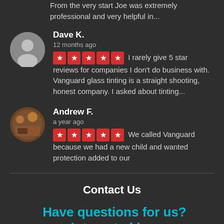From the very start Joe was extremely professional and very helpful in...
Dave K.
12 months ago
★★★★★ I rarely give 5 star reviews for companies I don't do business with. Vanguard glass tinting is a straight shooting, honest company. I asked about tinting...
Andrew F.
a year ago
★★★★★ We called Vanguard because we had a new child and wanted protection added to our
Contact Us
Have questions for us? Interested in